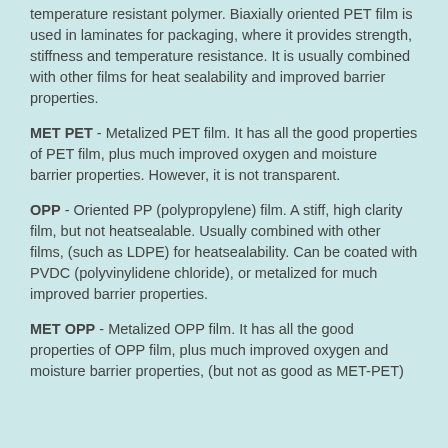temperature resistant polymer. Biaxially oriented PET film is used in laminates for packaging, where it provides strength, stiffness and temperature resistance. It is usually combined with other films for heat sealability and improved barrier properties.
MET PET - Metalized PET film. It has all the good properties of PET film, plus much improved oxygen and moisture barrier properties. However, it is not transparent.
OPP - Oriented PP (polypropylene) film. A stiff, high clarity film, but not heatsealable. Usually combined with other films, (such as LDPE) for heatsealability. Can be coated with PVDC (polyvinylidene chloride), or metalized for much improved barrier properties.
MET OPP - Metalized OPP film. It has all the good properties of OPP film, plus much improved oxygen and moisture barrier properties, (but not as good as MET-PET)